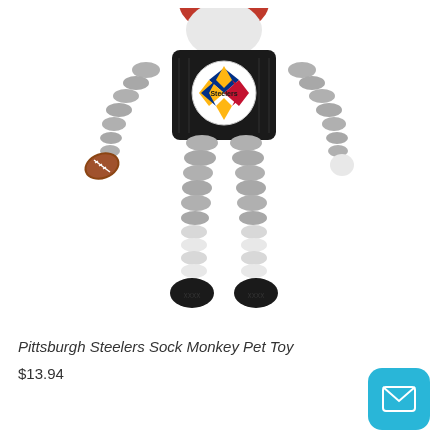[Figure (photo): Pittsburgh Steelers Sock Monkey Pet Toy — a stuffed sock monkey toy wearing a black Steelers jersey with the team logo, grey and white ribbed arms and legs, black feet/shoes, holding a small football in one hand.]
Pittsburgh Steelers Sock Monkey Pet Toy
$13.94